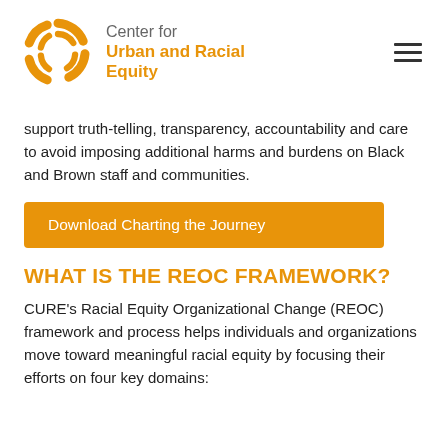Center for Urban and Racial Equity
support truth-telling, transparency, accountability and care to avoid imposing additional harms and burdens on Black and Brown staff and communities.
Download Charting the Journey
WHAT IS THE REOC FRAMEWORK?
CURE's Racial Equity Organizational Change (REOC) framework and process helps individuals and organizations move toward meaningful racial equity by focusing their efforts on four key domains: